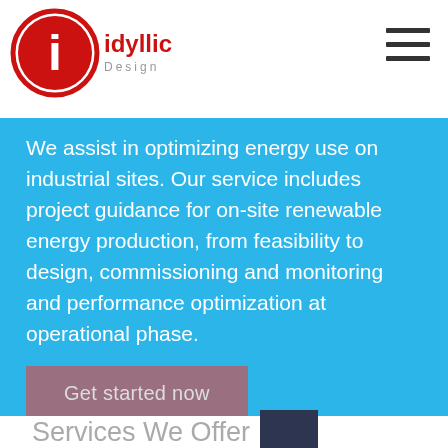[Figure (logo): Idyllic Design logo with red circle containing white 'i', text 'idyllic' in red and 'Design' in gray below]
We assist in optimizing energy use on industrial sites. Our service includes project guidance for on-site renewable energy production, from feasibility to design, commissioning and monitoring and performance optimization at operational phase.
Get started now
Services We Offer
We have already completed numerous apartment